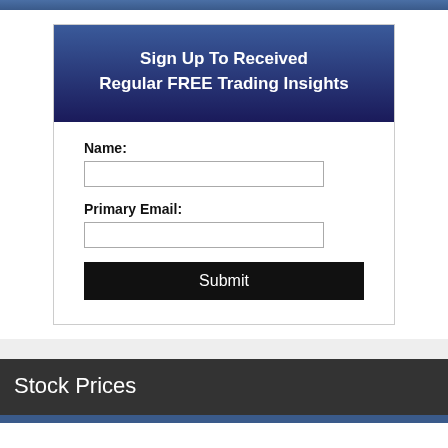Sign Up To Received Regular FREE Trading Insights
Name:
Primary Email:
Submit
Stock Prices